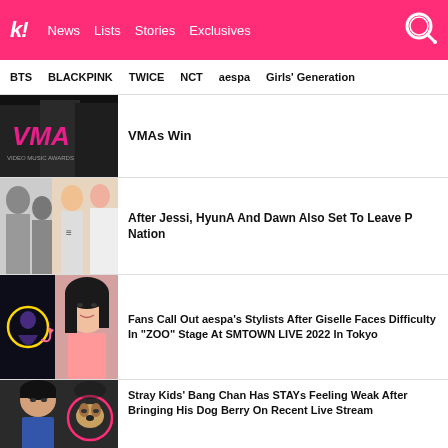k! News Lists Stories Exclusives
BTS BLACKPINK TWICE NCT aespa Girls' Generation
VMAs Win
After Jessi, HyunA And Dawn Also Set To Leave P Nation
Fans Call Out aespa's Stylists After Giselle Faces Difficulty In "ZOO" Stage At SMTOWN LIVE 2022 In Tokyo
Stray Kids' Bang Chan Has STAYs Feeling Weak After Bringing His Dog Berry On Recent Live Stream